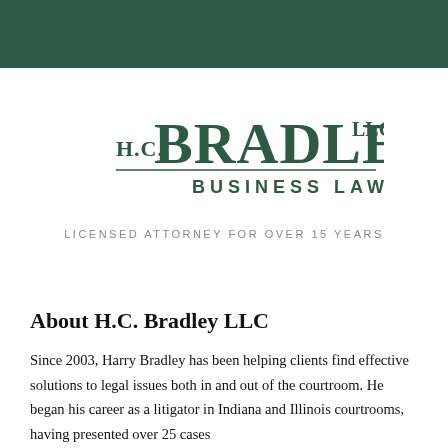[Figure (logo): H.C. Bradley LLC Business Law logo in dark green]
LICENSED ATTORNEY FOR OVER 15 YEARS
About H.C. Bradley LLC
Since 2003, Harry Bradley has been helping clients find effective solutions to legal issues both in and out of the courtroom. He began his career as a litigator in Indiana and Illinois courtrooms, having presented over 25 cases